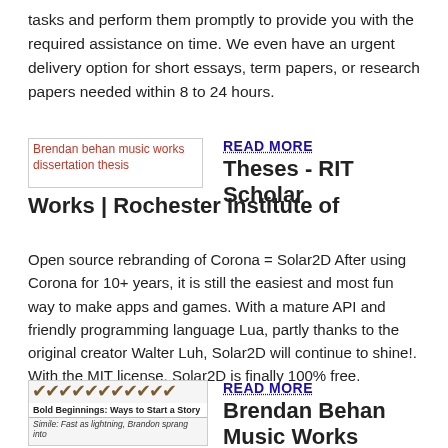tasks and perform them promptly to provide you with the required assistance on time. We even have an urgent delivery option for short essays, term papers, or research papers needed within 8 to 24 hours.
[Figure (illustration): Broken image placeholder for Brendan behan music works dissertation thesis]
READ MORE
Theses - RIT Scholar Works | Rochester Institute of
Open source rebranding of Corona = Solar2D After using Corona for 10+ years, it is still the easiest and most fun way to make apps and games. With a mature API and friendly programming language Lua, partly thanks to the original creator Walter Luh, Solar2D will continue to shine!. With the MIT license, Solar2D is finally 100% free.
[Figure (illustration): Bold Beginnings: Ways to Start a Story - image with checkmarks and story beginning examples]
READ MORE
Brendan Behan Music Works Dissertation